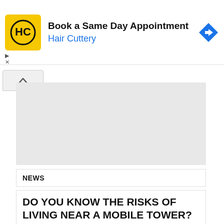[Figure (other): Hair Cuttery advertisement banner with yellow logo, 'Book a Same Day Appointment' headline, 'Hair Cuttery' subline in blue, and a blue navigation icon on the right.]
[Figure (other): Grey rectangular placeholder area for an advertisement.]
NEWS
DO YOU KNOW THE RISKS OF LIVING NEAR A MOBILE TOWER?
Published 08 August 2022
Do you live near one of these? Research suggests energy pulses from the towers can be damaging to human cell growth & can increase